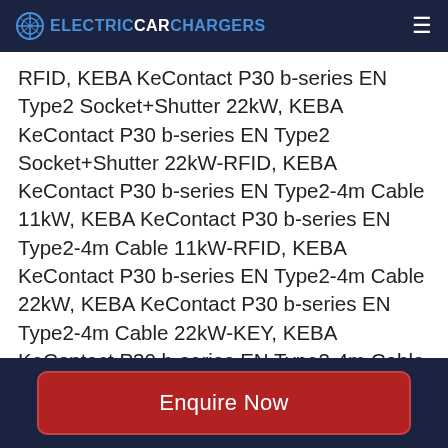ELECTRICCARCHARGERS
RFID, KEBA KeContact P30 b-series EN Type2 Socket+Shutter 22kW, KEBA KeContact P30 b-series EN Type2 Socket+Shutter 22kW-RFID, KEBA KeContact P30 b-series EN Type2-4m Cable 11kW, KEBA KeContact P30 b-series EN Type2-4m Cable 11kW-RFID, KEBA KeContact P30 b-series EN Type2-4m Cable 22kW, KEBA KeContact P30 b-series EN Type2-4m Cable 22kW-KEY, KEBA KeContact P30 b-series EN Type2-4m Cable 22kW-RFID, KEBA KeContact P30 b-series EN Type2-6m Cable 22kW, KEBA KeContact P30 b-series EN Type2-6m Cable 22kW-KEY, KEBA KeContact P30 b-series EN
Enquire Now